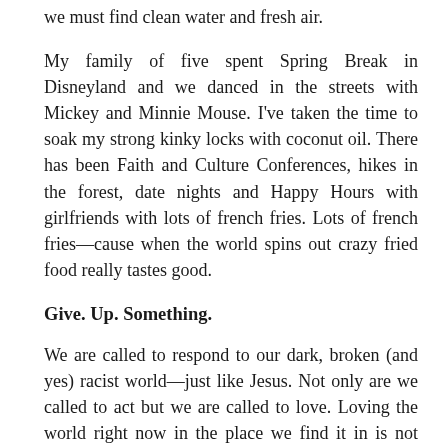we must find clean water and fresh air.
My family of five spent Spring Break in Disneyland and we danced in the streets with Mickey and Minnie Mouse. I’ve taken the time to soak my strong kinky locks with coconut oil. There has been Faith and Culture Conferences, hikes in the forest, date nights and Happy Hours with girlfriends with lots of french fries. Lots of french fries—cause when the world spins out crazy fried food really tastes good.
Give. Up. Something.
We are called to respond to our dark, broken (and yes) racist world—just like Jesus. Not only are we called to act but we are called to love. Loving the world right now in the place we find it in is not easy—especially if you are Black. We will all have to give up something if we expect to see real change and keep calling ourselves God’s redeemed. My “giving up” of something is going to look different than your “giving up” of something. That’s ok. Just find a way to love,